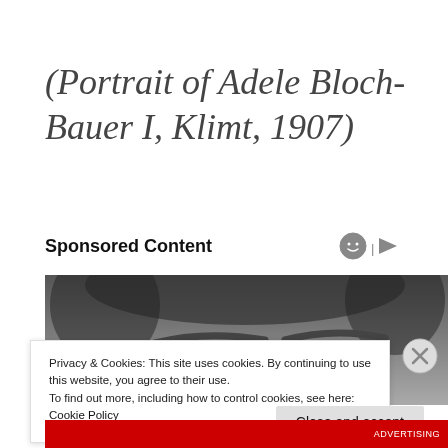(Portrait of Adele Bloch-Bauer I, Klimt, 1907)
Sponsored Content
[Figure (photo): Black and white close-up photograph of a person's face/eyes area, shown as sponsored content]
Privacy & Cookies: This site uses cookies. By continuing to use this website, you agree to their use.
To find out more, including how to control cookies, see here: Cookie Policy
Close and accept